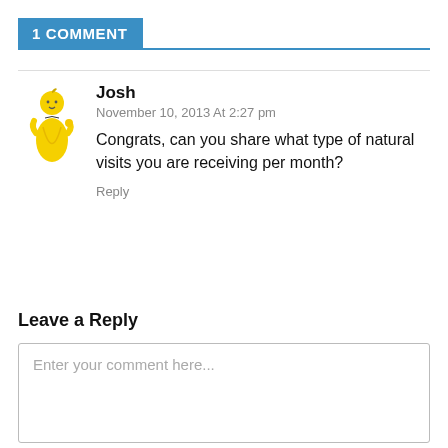1 COMMENT
Josh
November 10, 2013 At 2:27 pm
Congrats, can you share what type of natural visits you are receiving per month?
Reply
Leave a Reply
Enter your comment here...